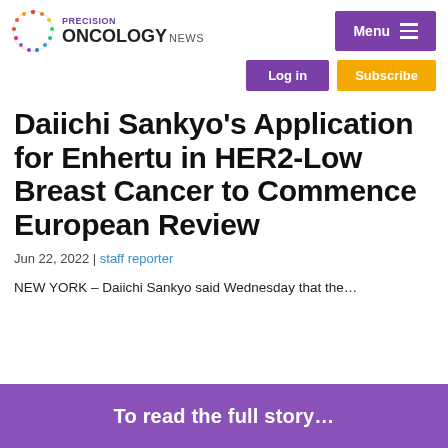PRECISION ONCOLOGY NEWS
Daiichi Sankyo's Application for Enhertu in HER2-Low Breast Cancer to Commence European Review
Jun 22, 2022 | staff reporter
NEW YORK – Daiichi Sankyo said Wednesday that the…
To read the full story…